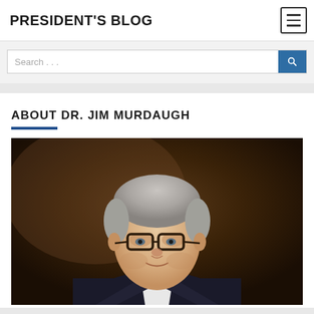PRESIDENT'S BLOG
[Figure (screenshot): Search bar with placeholder text 'Search ...' and a blue search button with magnifying glass icon]
ABOUT DR. JIM MURDAUGH
[Figure (photo): Professional portrait photo of Dr. Jim Murdaugh, a middle-aged man with grey hair and glasses, wearing a dark suit, photographed against a dark brown background]